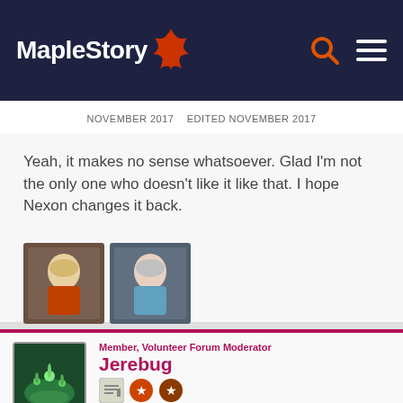[Figure (screenshot): MapleStory website header with logo, red maple leaf icon, search icon, and hamburger menu icon on dark navy background]
NOVEMBER 2017   EDITED NOVEMBER 2017
Yeah, it makes no sense whatsoever. Glad I'm not the only one who doesn't like it like that. I hope Nexon changes it back.
[Figure (illustration): Two small game character thumbnails side by side]
Member, Volunteer Forum Moderator
Jerebug
Reactions: 1,491
Posts: 71